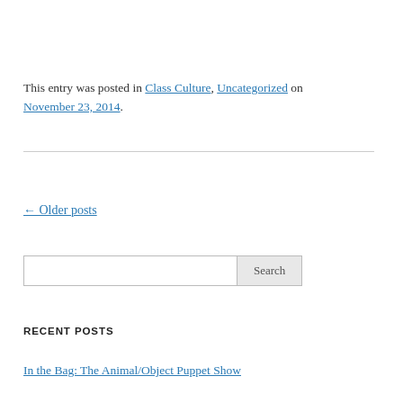This entry was posted in Class Culture, Uncategorized on November 23, 2014.
← Older posts
Search
RECENT POSTS
In the Bag: The Animal/Object Puppet Show